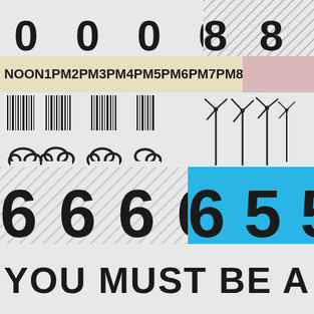[Figure (infographic): Large digits 0 0 0 0 on plain background, then 8 8 8 on diagonal hatched background]
NOON1PM2PM3PM4PM5PM6PM7PM8PM
[Figure (infographic): Barcode-like vertical lines and wind turbine icons arranged in a row]
[Figure (infographic): Diagonal hatched pattern on left half, solid cyan/blue on right half, overlaid with large numbers 6 6 6 6 6 5 5 5 5]
YOU MUST BE A